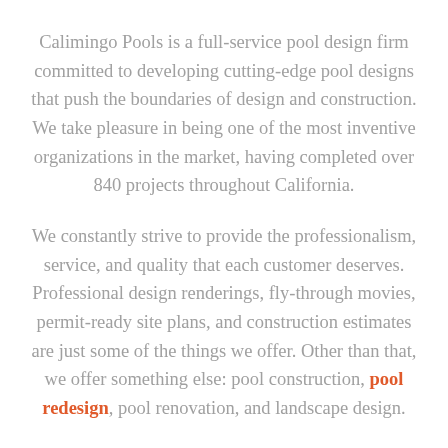Calimingo Pools is a full-service pool design firm committed to developing cutting-edge pool designs that push the boundaries of design and construction. We take pleasure in being one of the most inventive organizations in the market, having completed over 840 projects throughout California.
We constantly strive to provide the professionalism, service, and quality that each customer deserves. Professional design renderings, fly-through movies, permit-ready site plans, and construction estimates are just some of the things we offer. Other than that, we offer something else: pool construction, pool redesign, pool renovation, and landscape design.